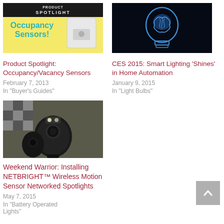[Figure (photo): Product Spotlight image showing occupancy sensor with text 'Occupancy Sensors!' on yellow background]
Product Spotlight: Occupancy/Vacancy Sensors
February 7, 2013
In "Buyer's Guides"
[Figure (photo): Dark image of a glowing blue brain inside a light bulb outline]
CES 2015: Smart Lighting ‘Shines’ in Home Automation
January 9, 2015
In "Light Bulbs"
[Figure (photo): Photo of black NETBRIGHT wireless motion sensor spotlights]
Weekend Warrior: Installing NETBRIGHT™ Wireless Motion Sensor Networked Spotlights
May 7, 2015
In "Battery Operated Lights"